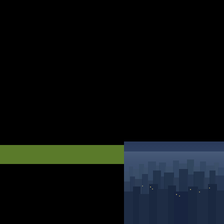Worldwide CAD
[Figure (photo): Aerial nighttime/dusk view of a dense urban cityscape with buildings and city lights, rendered in dark blue-gray tones]